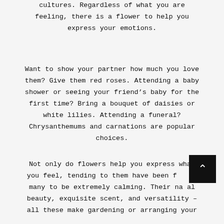cultures. Regardless of what you are feeling, there is a flower to help you express your emotions.
Want to show your partner how much you love them? Give them red roses. Attending a baby shower or seeing your friend’s baby for the first time? Bring a bouquet of daisies or white lilies. Attending a funeral? Chrysanthemums and carnations are popular choices.
Not only do flowers help you express what you feel, tending to them have been f… by many to be extremely calming. Their na…al beauty, exquisite scent, and versatility – all these make gardening or arranging your